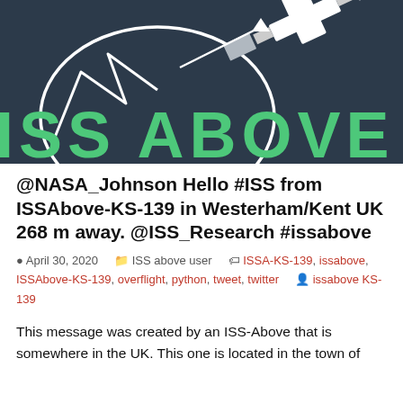[Figure (illustration): Dark navy background with ISS Above logo — white arc/globe graphic with space station silhouette and arrows, large green text 'ISS ABOVE' partially visible]
@NASA_Johnson Hello #ISS from ISSAbove-KS-139 in Westerham/Kent UK 268 m away. @ISS_Research #issabove
April 30, 2020   ISS above user   ISSA-KS-139, issabove, ISSAbove-KS-139, overflight, python, tweet, twitter   issabove KS-139
This message was created by an ISS-Above that is somewhere in the UK. This one is located in the town of